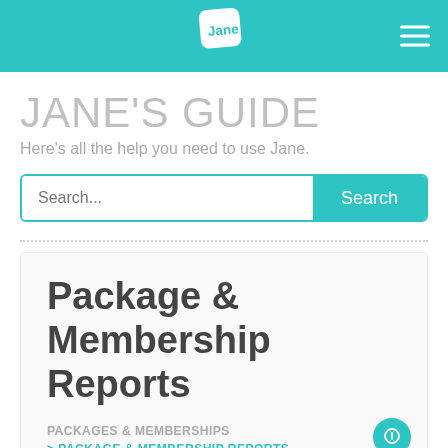Jane logo navigation bar
JANE'S GUIDE
Here's all the help you need to use Jane.
Search...
Package & Membership Reports
PACKAGES & MEMBERSHIPS
> PACKAGE & MEMBERSHIP REPORTS